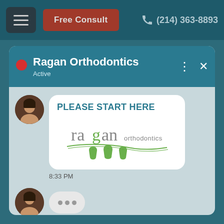Free Consult  (214) 363-8893
Ragan Orthodontics
Active
[Figure (screenshot): Chat message bubble showing PLEASE START HERE text and Ragan Orthodontics logo with green tooth icons]
8:33 PM
[Figure (other): Typing indicator bubble with three dots]